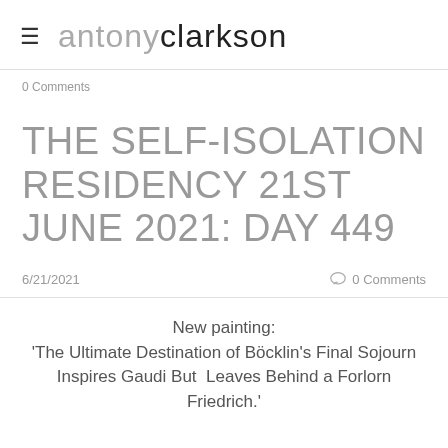≡ antonyclarkson
0 Comments
THE SELF-ISOLATION RESIDENCY 21ST JUNE 2021: DAY 449
6/21/2021   0 Comments
New painting: 'The Ultimate Destination of Böcklin's Final Sojourn Inspires Gaudi But  Leaves Behind a Forlorn Friedrich.'